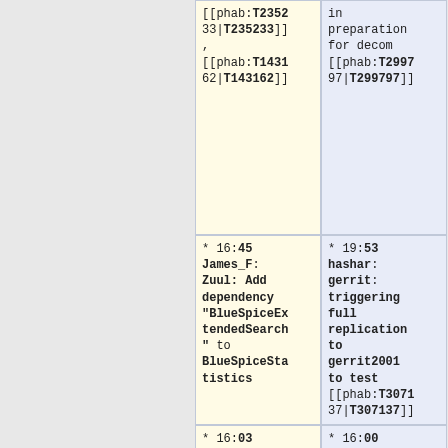[[phab:T235233|T235233]] , [[phab:T143162|T143162]]
in preparation for decom [[phab:T299797|T299797]]
* 16:45 James_F: Zuul: Add dependency "BlueSpiceExtendedSearch" to BlueSpiceStatistics
* 19:53 hashar: gerrit: triggering full replication to gerrit2001 to test [[phab:T307137|T307137]]
* 16:03 paladox: ssh -p 29418 gerrit.wikim
* 16:00 hashar: contint2001 and contint1001